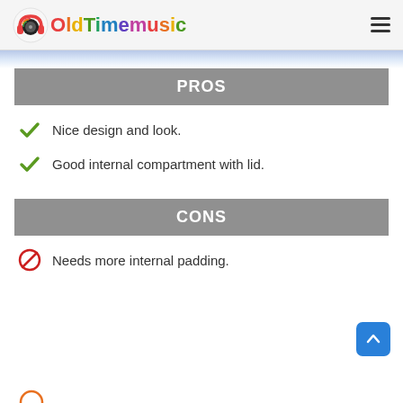OldTimemusic
PROS
Nice design and look.
Good internal compartment with lid.
CONS
Needs more internal padding.